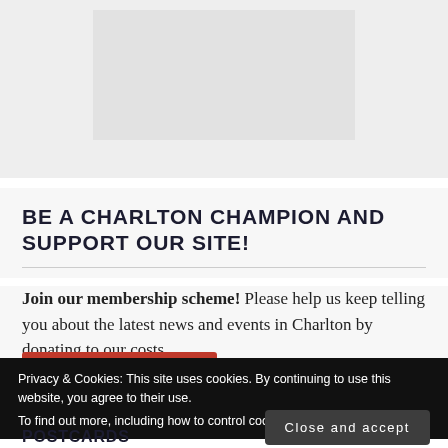[Figure (other): Top image area with a light gray background containing a lighter inner rectangle, representing a cropped image or placeholder]
BE A CHARLTON CHAMPION AND SUPPORT OUR SITE!
Join our membership scheme! Please help us keep telling you about the latest news and events in Charlton by donating to our costs.
[Figure (other): Red button (partially visible)]
Privacy & Cookies: This site uses cookies. By continuing to use this website, you agree to their use.
To find out more, including how to control cookies, see here: Cookie Policy
Close and accept
POSTCARDS